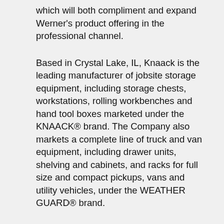which will both compliment and expand Werner's product offering in the professional channel.
Based in Crystal Lake, IL, Knaack is the leading manufacturer of jobsite storage equipment, including storage chests, workstations, rolling workbenches and hand tool boxes marketed under the KNAACK® brand. The Company also markets a complete line of truck and van equipment, including drawer units, shelving and cabinets, and racks for full size and compact pickups, vans and utility vehicles, under the WEATHER GUARD® brand.
“The union of Werner and Knaack creates a product portfolio that will allow us to leverage the broader company networks in manufacturing, distribution, sales and marketing to strengthen our position in the industrial construction segment,” said William T. Al...